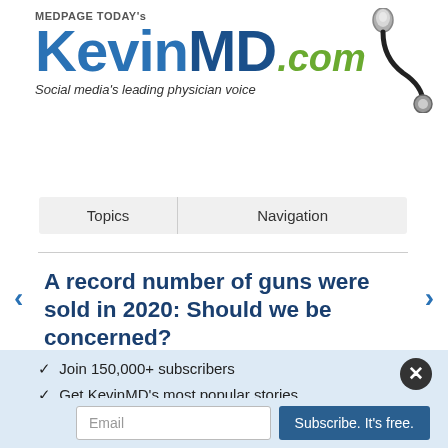[Figure (logo): MedPage Today's KevinMD.com logo with stethoscope icon. Text reads MEDPAGE TODAY's KevinMD.com Social media's leading physician voice]
| Topics | Navigation |
| --- | --- |
A record number of guns were sold in 2020: Should we be concerned?
✓ Join 150,000+ subscribers
✓ Get KevinMD's most popular stories
Email | Subscribe. It's free.